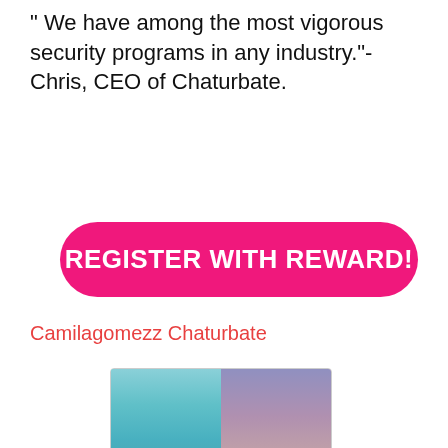" We have among the most vigorous security programs in any industry."- Chris, CEO of Chaturbate.
[Figure (other): Pink rounded rectangle button with white bold text 'REGISTER WITH REWARD!']
Camilagomezz Chaturbate
[Figure (screenshot): Screenshot of a webcam streaming card showing fox_alina, age 20, with description 'crazy weekend! ^^ - multi goal: lovense domi every 10 goals!']